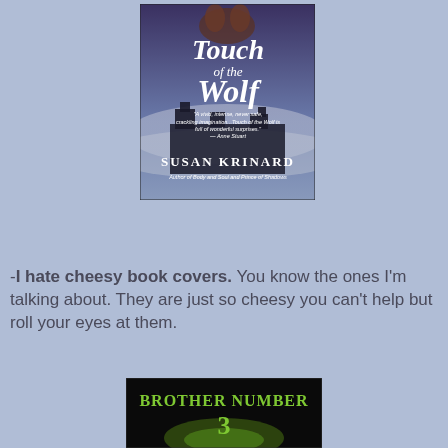[Figure (photo): Book cover of 'Touch of the Wolf' by Susan Krinard, showing gothic castle and wolf imagery with text 'A vivid, intense, never-safe, crackling imagination...Touch of the Wolf is full of wonderful surprises. — Anne Stuart']
-I hate cheesy book covers. You know the ones I'm talking about. They are just so cheesy you can't help but roll your eyes at them.
[Figure (photo): Book cover of 'Brother Number 3' with green and black design]